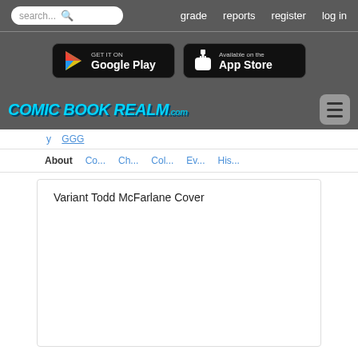search... grade reports register log in
[Figure (screenshot): Google Play and App Store download buttons on dark grey background]
[Figure (logo): Comic Book Realm .com logo in blue stylized text with hamburger menu icon]
Co... Ch... Col... Ev... His...
About  Co...  Ch...  Col...  Ev...  His...
Variant Todd McFarlane Cover